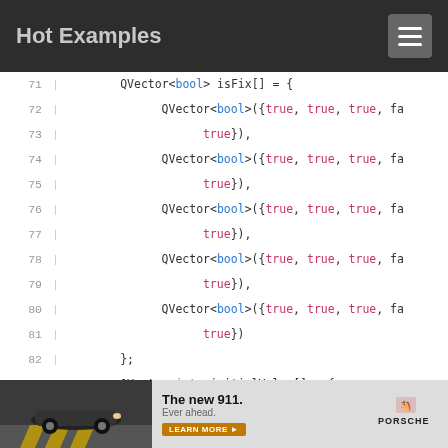Hot Examples
[Figure (screenshot): Code snippet showing C++ lines 71-87 with QVector<bool> isFix[] and QVector<int> initialValue[] array initializations]
[Figure (photo): Advertisement for the new Porsche 911 with text 'The new 911. Ever ahead.' and a LEARN MORE button and Porsche logo]